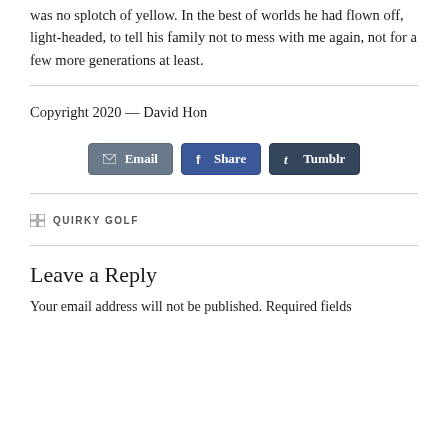was no splotch of yellow. In the best of worlds he had flown off, light-headed, to tell his family not to mess with me again, not for a few more generations at least.
Copyright 2020 — David Hon
[Figure (other): Social share buttons: Email, Share (Facebook), Tumblr]
QUIRKY GOLF
Leave a Reply
Your email address will not be published. Required fields